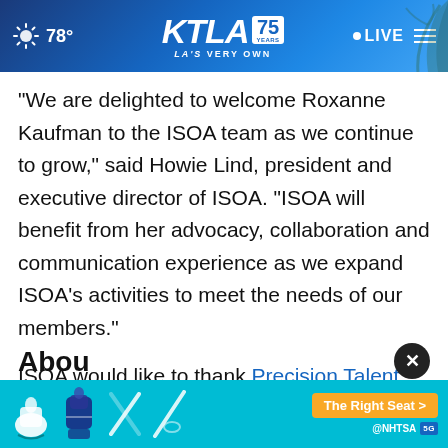KTLA 75 Years — LA'S VERY OWN | 78° | LIVE
"We are delighted to welcome Roxanne Kaufman to the ISOA team as we continue to grow," said Howie Lind, president and executive director of ISOA. "ISOA will benefit from her advocacy, collaboration and communication experience as we expand ISOA's activities to meet the needs of our members."
ISOA would like to thank Precision Talent Solutions for their assistance in this search.
About
[Figure (screenshot): NHTSA ad banner: The Right Seat > button with car seat safety icons on cyan background]